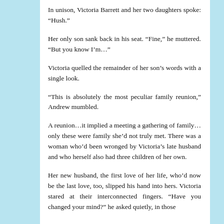In unison, Victoria Barrett and her two daughters spoke: “Hush.”
Her only son sank back in his seat. “Fine,” he muttered. “But you know I’m…”
Victoria quelled the remainder of her son’s words with a single look.
“This is absolutely the most peculiar family reunion,” Andrew mumbled.
A reunion…it implied a meeting a gathering of family…only these were family she’d not truly met. There was a woman who’d been wronged by Victoria’s late husband and who herself also had three children of her own.
Her new husband, the first love of her life, who’d now be the last love, too, slipped his hand into hers. Victoria stared at their interconnected fingers. “Have you changed your mind?” he asked quietly, in those